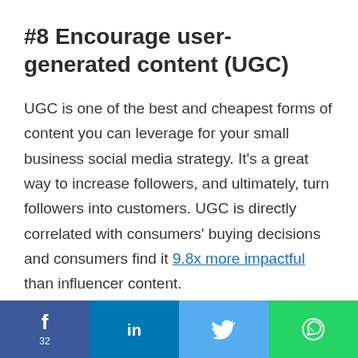#8 Encourage user-generated content (UGC)
UGC is one of the best and cheapest forms of content you can leverage for your small business social media strategy. It’s a great way to increase followers, and ultimately, turn followers into customers. UGC is directly correlated with consumers’ buying decisions and consumers find it 9.8x more impactful than influencer content.